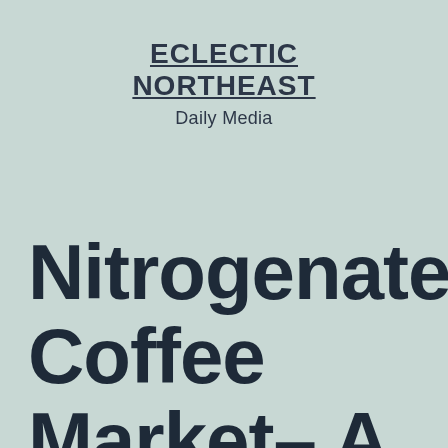ECLECTIC NORTHEAST
Daily Media
Nitrogenated Coffee Market– A Retrospective